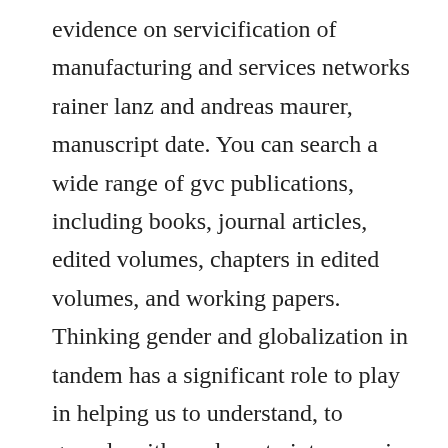evidence on servicification of manufacturing and services networks rainer lanz and andreas maurer, manuscript date. You can search a wide range of gvc publications, including books, journal articles, edited volumes, chapters in edited volumes, and working papers. Thinking gender and globalization in tandem has a significant role to play in helping us to understand, to grapple with, perhaps to intervene in, this ongoing disaster. The effects of global value chain gvcs on the pattern of trade. A case for europe to cheer up